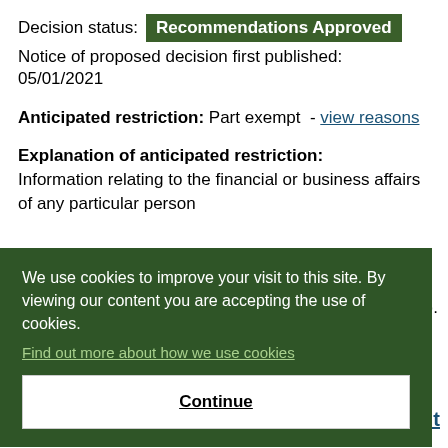Decision status: Recommendations Approved
Notice of proposed decision first published: 05/01/2021
Anticipated restriction: Part exempt  - view reasons
Explanation of anticipated restriction: Information relating to the financial or business affairs of any particular person (including the authority holding that information).
We use cookies to improve your visit to this site. By viewing our content you are accepting the use of cookies.
Find out more about how we use cookies
Continue
Decision maker: Executive Member for Adult Services,